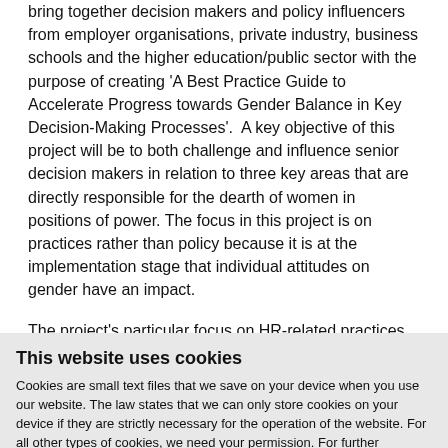bring together decision makers and policy influencers from employer organisations, private industry, business schools and the higher education/public sector with the purpose of creating 'A Best Practice Guide to Accelerate Progress towards Gender Balance in Key Decision-Making Processes'. A key objective of this project will be to both challenge and influence senior decision makers in relation to three key areas that are directly responsible for the dearth of women in positions of power. The focus in this project is on practices rather than policy because it is at the implementation stage that individual attitudes on gender have an impact.
The project's particular focus on HR-related practices, i.e. selection, performance management and promotions/advancement, aims to (i) encourage private and public sector employers to improve gender balance in key decision-making positions through the utilisation of the 'Best Practice Guide to Accelerate Progress towards Gender Balance in Key Decision-Making Positions'; (ii) encourage business schools across Europe to promote gender diversity in leadership positions through the
This website uses cookies
Cookies are small text files that we save on your device when you use our website. The law states that we can only store cookies on your device if they are strictly necessary for the operation of the website. For all other types of cookies, we need your permission. For further information, please see our